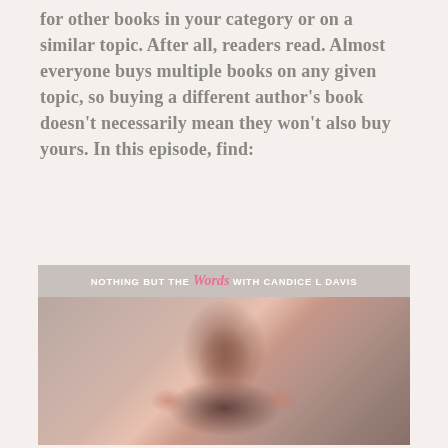for other books in your category or on a similar topic. After all, readers read. Almost everyone buys multiple books on any given topic, so buying a different author's book doesn't necessarily mean they won't also buy yours. In this episode, find:
[Figure (photo): Podcast banner and photo for 'Nothing But The Words with Candice L Davis' showing a smiling Black woman]